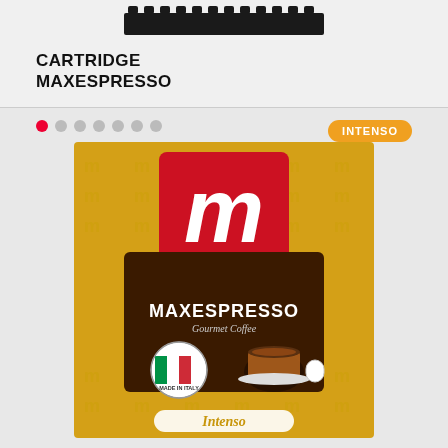[Figure (photo): Top portion of a dark espresso cartridge/capsule device, black with ridged top edge, shown at top of page]
CARTRIDGE MAXESPRESSO
[Figure (photo): Gold foil coffee pod packaging for MAXESPRESSO Gourmet Coffee, Intenso variety. Features large red square logo with white M letter, Made in Italy circular badge with Italian flag, image of espresso cup, and Intenso label at bottom on golden yellow background with watermark M pattern.]